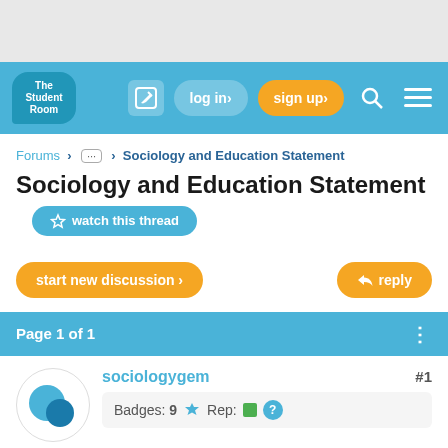[Figure (screenshot): The Student Room website header navigation bar with logo, edit icon, log in button, sign up button, search icon, and menu icon]
Forums > ... > Sociology and Education Statement
Sociology and Education Statement
watch this thread
start new discussion >
reply
Page 1 of 1
sociologygem
#1
Badges: 9  Rep:
Report   Thread starter   4 years ago